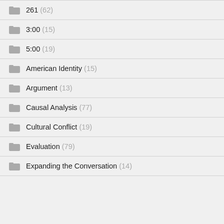261 (62)
3:00 (15)
5:00 (19)
American Identity (15)
Argument (13)
Causal Analysis (77)
Cultural Conflict (19)
Evaluation (79)
Expanding the Conversation (14)